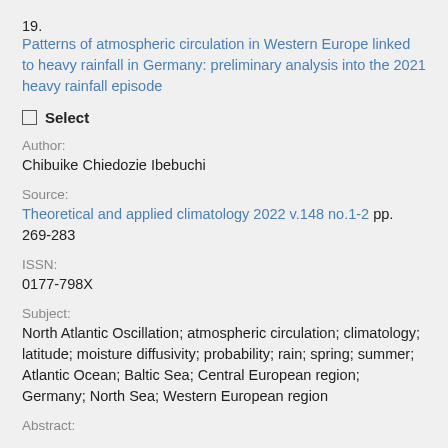19. Patterns of atmospheric circulation in Western Europe linked to heavy rainfall in Germany: preliminary analysis into the 2021 heavy rainfall episode
☐ Select
Author:
Chibuike Chiedozie Ibebuchi
Source:
Theoretical and applied climatology 2022 v.148 no.1-2 pp. 269-283
ISSN:
0177-798X
Subject:
North Atlantic Oscillation; atmospheric circulation; climatology; latitude; moisture diffusivity; probability; rain; spring; summer; Atlantic Ocean; Baltic Sea; Central European region; Germany; North Sea; Western European region
Abstract: